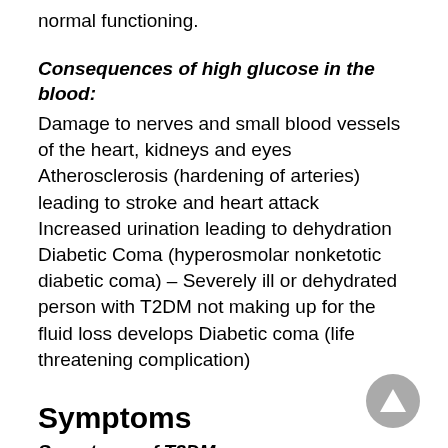normal functioning.
Consequences of high glucose in the blood:
Damage to nerves and small blood vessels of the heart, kidneys and eyes
Atherosclerosis (hardening of arteries) leading to stroke and heart attack
Increased urination leading to dehydration
Diabetic Coma (hyperosmolar nonketotic diabetic coma) – Severely ill or dehydrated person with T2DM not making up for the fluid loss develops Diabetic coma (life threatening complication)
Symptoms
Symptoms of T2DM:
[Figure (other): Gray circular navigation button with upward-pointing triangle/arrow icon]